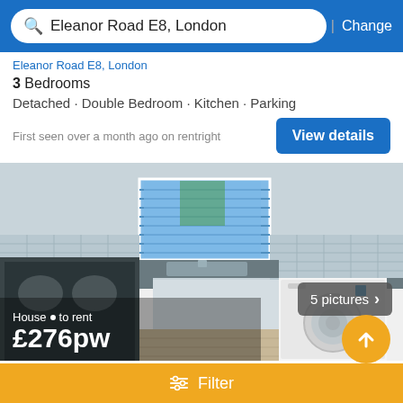Eleanor Road E8, London | Change
Eleanor Road E8, London (truncated address)
3 Bedrooms
Detached · Double Bedroom · Kitchen · Parking
First seen over a month ago on rentright
View details
[Figure (photo): Kitchen interior with white cabinets, grey countertops, washing machine, and blue window blinds. Overlay shows 'House · to rent £276pw' and '5 pictures ›' badge.]
House to let, London - Double Bedroom
Eleanor Road E8, London
Filter